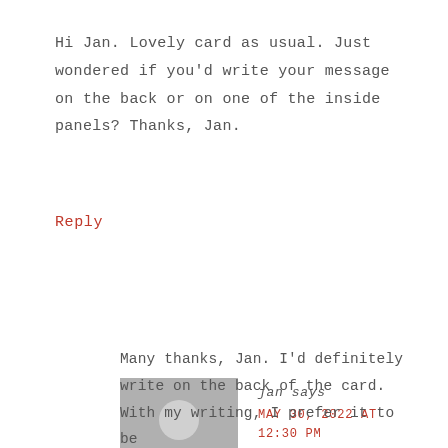Hi Jan. Lovely card as usual. Just wondered if you'd write your message on the back or on one of the inside panels? Thanks, Jan.
Reply
[Figure (illustration): Generic grey avatar placeholder image showing a person silhouette with head and shoulders]
jan says
MAY 30, 2022 AT 12:30 PM
Many thanks, Jan. I'd definitely write on the back of the card. With my writing, I prefer it to be